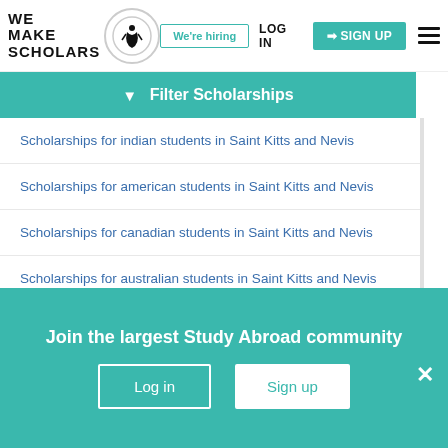We Make Scholars | We're hiring | LOG IN | SIGN UP
Filter Scholarships
Scholarships for indian students in Saint Kitts and Nevis
Scholarships for american students in Saint Kitts and Nevis
Scholarships for canadian students in Saint Kitts and Nevis
Scholarships for australian students in Saint Kitts and Nevis
Scholarships for british students in Saint Kitts and Nevis
Join the largest Study Abroad community
Log in | Sign up